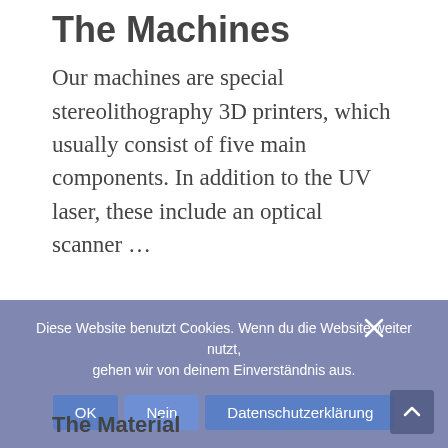The Machines
Our machines are special stereolithography 3D printers, which usually consist of five main components. In addition to the UV laser, these include an optical scanner …
Diese Website benutzt Cookies. Wenn du die Website weiter nutzt, gehen wir von deinem Einverständnis aus.
The Material